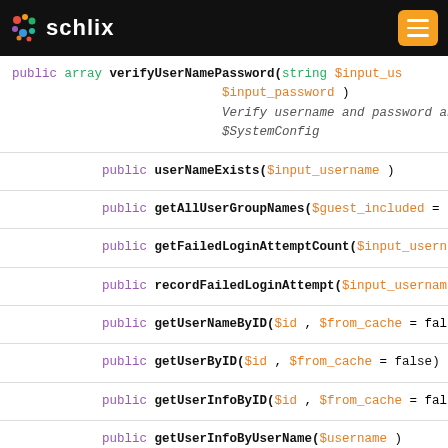schlix
public array verifyUserNamePassword(string $input_username, $input_password ) — Verify username and password and return $SystemConfig
public userNameExists($input_username )
public getAllUserGroupNames($guest_included = t…
public getFailedLoginAttemptCount($input_usern…
public recordFailedLoginAttempt($input_usernam…
public getUserNameByID($id , $from_cache = fals…
public getUserByID($id , $from_cache = false)
public getUserInfoByID($id , $from_cache = fals…
public getUserInfoByUserName($username )
public getUserByUserName($username )